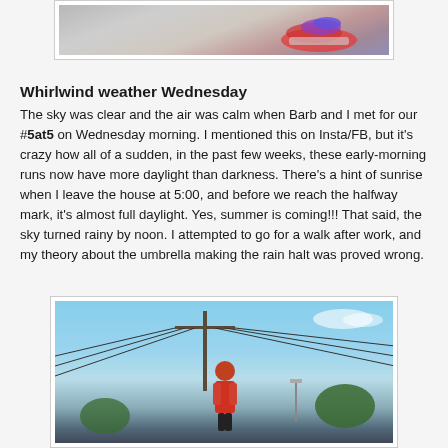[Figure (photo): Partial photo of colorful running shoes on a road surface, shown cropped at the top of the page]
Whirlwind weather Wednesday
The sky was clear and the air was calm when Barb and I met for our #5at5 on Wednesday morning. I mentioned this on Insta/FB, but it's crazy how all of a sudden, in the past few weeks, these early-morning runs now have more daylight than darkness. There's a hint of sunrise when I leave the house at 5:00, and before we reach the halfway mark, it's almost full daylight. Yes, summer is coming!!! That said, the sky turned rainy by noon. I attempted to go for a walk after work, and my theory about the umbrella making the rain halt was proved wrong.
[Figure (photo): Photo of a person wearing a red outfit standing outside under a blue sky with power lines and utility poles visible overhead, green trees in background]